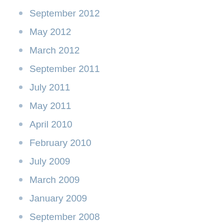September 2012
May 2012
March 2012
September 2011
July 2011
May 2011
April 2010
February 2010
July 2009
March 2009
January 2009
September 2008